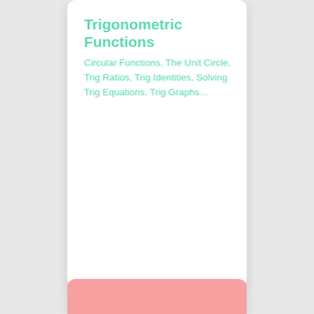Trigonometric Functions
Circular Functions, The Unit Circle, Trig Ratios, Trig Identities, Solving Trig Equations, Trig Graphs...